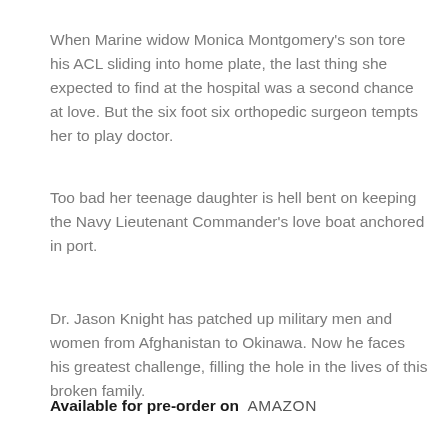When Marine widow Monica Montgomery's son tore his ACL sliding into home plate, the last thing she expected to find at the hospital was a second chance at love. But the six foot six orthopedic surgeon tempts her to play doctor.
Too bad her teenage daughter is hell bent on keeping the Navy Lieutenant Commander's love boat anchored in port.
Dr. Jason Knight has patched up military men and women from Afghanistan to Okinawa. Now he faces his greatest challenge, filling the hole in the lives of this broken family.
Available for pre-order on  AMAZON
[Figure (photo): Partial view of a brown/amber toned image at bottom of page, likely a book cover image, with letters 'E' and 'X' visible on the left side.]